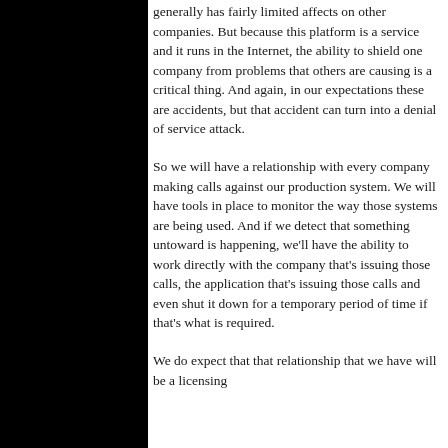generally has fairly limited affects on other companies. But because this platform is a service and it runs in the Internet, the ability to shield one company from problems that others are causing is a critical thing. And again, in our expectations these are accidents, but that accident can turn into a denial of service attack.
So we will have a relationship with every company making calls against our production system. We will have tools in place to monitor the way those systems are being used. And if we detect that something untoward is happening, we'll have the ability to work directly with the company that's issuing those calls, the application that's issuing those calls and even shut it down for a temporary period of time if that's what is required.
We do expect that that relationship that we have will be a licensing